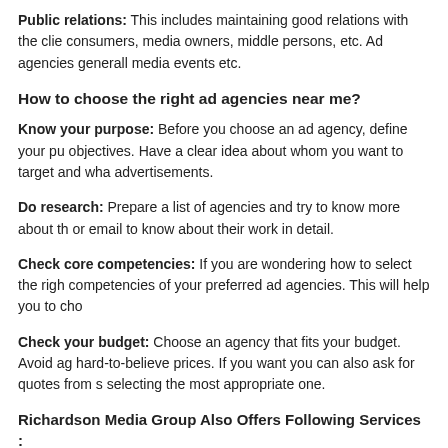Public relations: This includes maintaining good relations with the clients, consumers, media owners, middle persons, etc. Ad agencies generally organize media events etc.
How to choose the right ad agencies near me?
Know your purpose: Before you choose an ad agency, define your purpose and objectives. Have a clear idea about whom you want to target and what you want from advertisements.
Do research: Prepare a list of agencies and try to know more about them via call or email to know about their work in detail.
Check core competencies: If you are wondering how to select the right agency, check competencies of your preferred ad agencies. This will help you to choose the right one.
Check your budget: Choose an agency that fits your budget. Avoid agencies offering hard-to-believe prices. If you want you can also ask for quotes from several agencies before selecting the most appropriate one.
Richardson Media Group Also Offers Following Services :